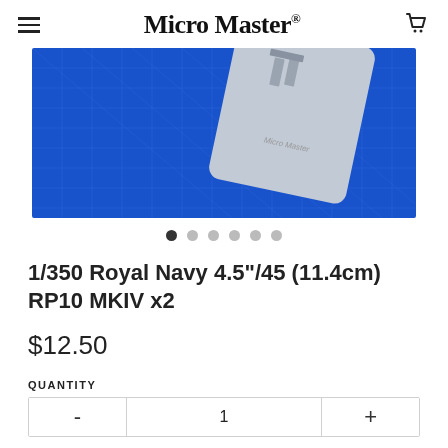Micro Master®
[Figure (photo): Product photo showing a Micro Master branded resin model kit card with metal parts against a blue blueprint background]
1/350 Royal Navy 4.5"/45 (11.4cm) RP10 MKIV x2
$12.50
QUANTITY
| - | 1 | + |
| --- | --- | --- |